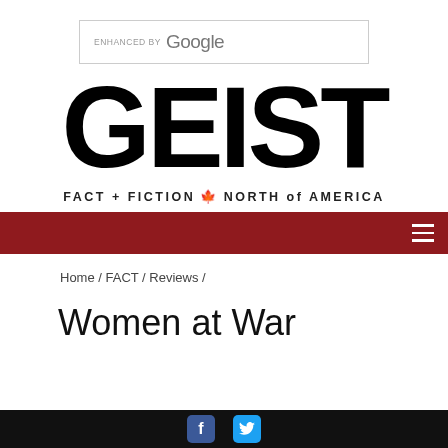[Figure (logo): ENHANCED BY Google search bar widget]
[Figure (logo): GEIST magazine logo with tagline FACT + FICTION NORTH of AMERICA]
[Figure (other): Dark red navigation bar with hamburger menu icon on right]
Home / FACT / Reviews /
Women at War
[Figure (other): Black footer bar with Facebook and Twitter social media icons]